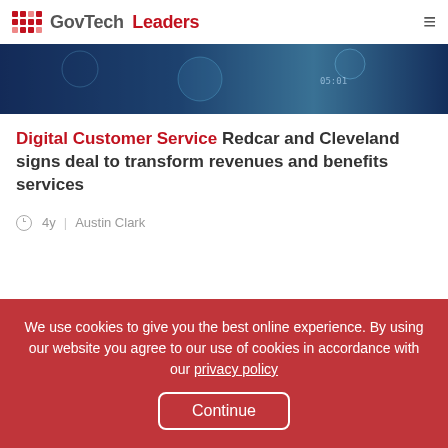GovTech Leaders
[Figure (photo): Abstract digital/technology image with blue tones at top of article card]
Digital Customer Service Redcar and Cleveland signs deal to transform revenues and benefits services
4y | Austin Clark
[Figure (photo): Dark digital health/data image with glowing blue heart and pulse icon on dark background with hex codes]
We use cookies to give you the best online experience. By using our website you agree to our use of cookies in accordance with our privacy policy